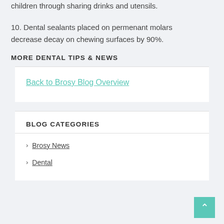children through sharing drinks and utensils.
10. Dental sealants placed on permenant molars decrease decay on chewing surfaces by 90%.
MORE DENTAL TIPS & NEWS
Back to Brosy Blog Overview
BLOG CATEGORIES
Brosy News
Dental